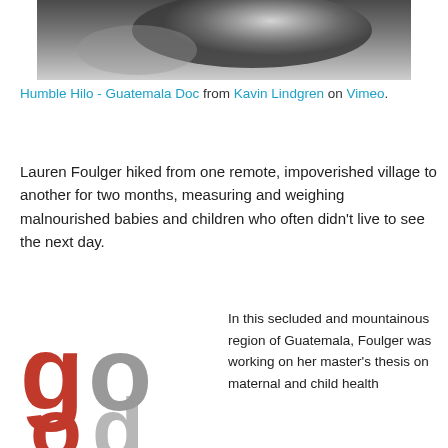[Figure (photo): Black and white blurred photograph, likely of people or a figure in motion]
Humble Hilo - Guatemala Doc from Kavin Lindgren on Vimeo.
Lauren Foulger hiked from one remote, impoverished village to another for two months, measuring and weighing malnourished babies and children who often didn't live to see the next day.
[Figure (logo): GOOD magazine logo — large red and gray letters 'go' and 'od']
In this secluded and mountainous region of Guatemala, Foulger was working on her master's thesis on maternal and child health